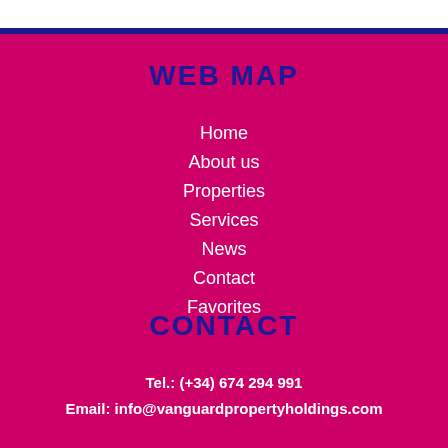WEB MAP
Home
About us
Properties
Services
News
Contact
Favorites
CONTACT
Tel.: (+34) 674 294 991
Email: info@vanguardpropertyholdings.com